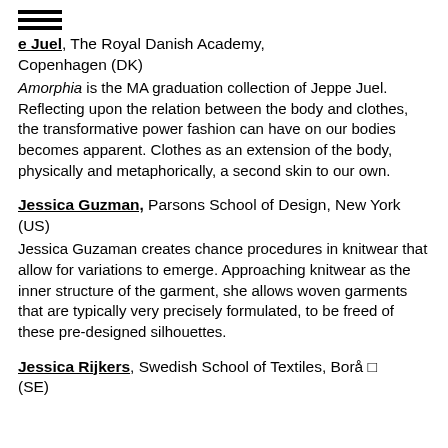[Jeppe Juel], The Royal Danish Academy, Copenhagen (DK)
Amorphia is the MA graduation collection of Jeppe Juel. Reflecting upon the relation between the body and clothes, the transformative power fashion can have on our bodies becomes apparent. Clothes as an extension of the body, physically and metaphorically, a second skin to our own.
Jessica Guzman, Parsons School of Design, New York (US)
Jessica Guzaman creates chance procedures in knitwear that allow for variations to emerge. Approaching knitwear as the inner structure of the garment, she allows woven garments that are typically very precisely formulated, to be freed of these pre-designed silhouettes.
Jessica Rijkers, Swedish School of Textiles, Borå (SE)